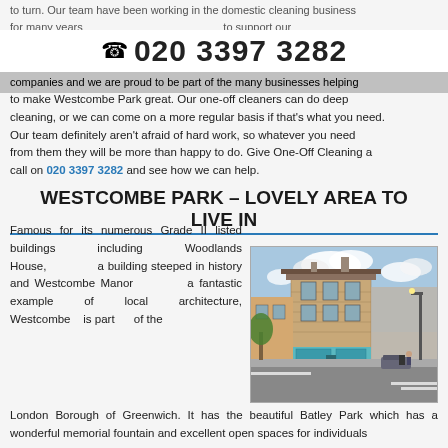to turn. Our team have been working in the domestic cleaning business for many years and have great systems in place to support our customers. We have worked with local residents in SE3 as well as
📞 020 3397 3282
companies and we are proud to be part of the many businesses helping to make Westcombe Park great. Our one-off cleaners can do deep cleaning, or we can come on a more regular basis if that's what you need. Our team definitely aren't afraid of hard work, so whatever you need from them they will be more than happy to do. Give One-Off Cleaning a call on 020 3397 3282 and see how we can help.
WESTCOMBE PARK – LOVELY AREA TO LIVE IN
Famous for its numerous Grade II listed buildings including Woodlands House, a building steeped in history and Westcombe Manor a fantastic example of local architecture, Westcombe is part of the London Borough of Greenwich. It has the beautiful Batley Park which has a wonderful memorial fountain and excellent open spaces for individuals and families to enjoy. Many parts of Batley Park have a fantastic
[Figure (photo): Street scene showing a corner building with light blue shopfront/pub facade, brick upper stories, on a sunny day with trees and parked cars visible. Located in Westcombe Park area of London.]